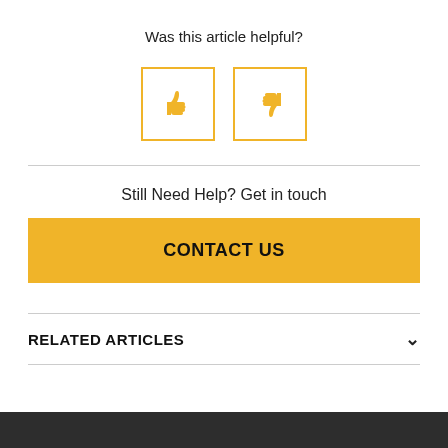Was this article helpful?
[Figure (illustration): Two square buttons with yellow borders: a thumbs-up icon on the left and a thumbs-down icon on the right, both icons in yellow/amber color.]
Still Need Help? Get in touch
CONTACT US
RELATED ARTICLES